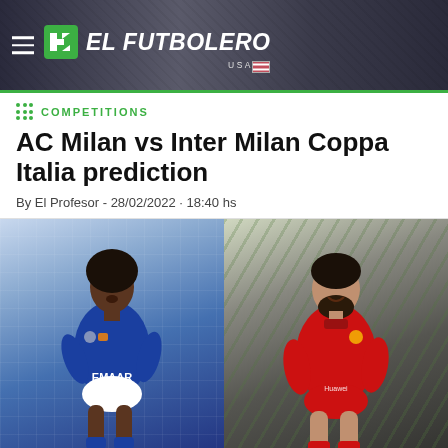EL FUTBOLERO USA
COMPETITIONS
AC Milan vs Inter Milan Coppa Italia prediction
By El Profesor - 28/02/2022 · 18:40 hs
[Figure (photo): Two football players side by side: left player in blue Al-Hilal EMAAR jersey, right player in red jersey smiling]